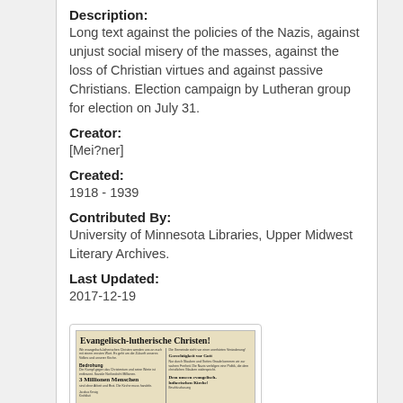Description:
Long text against the policies of the Nazis, against unjust social misery of the masses, against the loss of Christian virtues and against passive Christians. Election campaign by Lutheran group for election on July 31.
Creator:
[Mei?ner]
Created:
1918 - 1939
Contributed By:
University of Minnesota Libraries, Upper Midwest Literary Archives.
Last Updated:
2017-12-19
[Figure (photo): Thumbnail image of a German election pamphlet titled 'Evangelisch-lutherische Christen!' with text columns and 'Liste 33' at the bottom.]